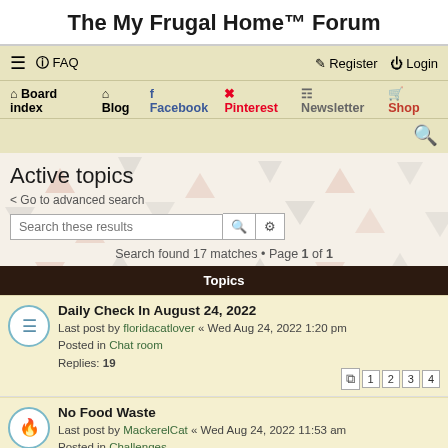The My Frugal Home™ Forum
≡  FAQ    Register  Login
Board index  Blog  Facebook  Pinterest  Newsletter  Shop
Active topics
Go to advanced search
Search these results
Search found 17 matches • Page 1 of 1
| Topics |
| --- |
| Daily Check In August 24, 2022
Last post by floridacatlover « Wed Aug 24, 2022 1:20 pm
Posted in Chat room
Replies: 19 |
| No Food Waste
Last post by MackerelCat « Wed Aug 24, 2022 11:53 am
Posted in Challenges
Replies: 48 |
| Daily Check In August 23, 2022
Last post by MackerelCat « Wed Aug 24, 2022 8:31 am |